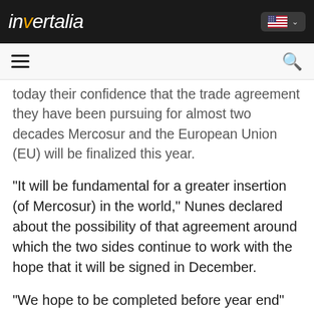invertalia
today their confidence that the trade agreement they have been pursuing for almost two decades Mercosur and the European Union (EU) will be finalized this year.
"It will be fundamental for a greater insertion (of Mercosur) in the world," Nunes declared about the possibility of that agreement around which the two sides continue to work with the hope that it will be signed in December.
"We hope to be completed before year end" and includes "reciprocal commitments and benefits for citizens" European and Argentina, Brazil, Uruguay and Paraguay